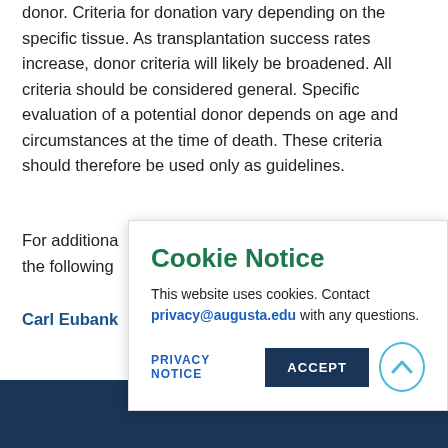donor. Criteria for donation vary depending on the specific tissue. As transplantation success rates increase, donor criteria will likely be broadened. All criteria should be considered general. Specific evaluation of a potential donor depends on age and circumstances at the time of death. These criteria should therefore be used only as guidelines.
For additional information, please contact the following:
Carl Eubank...
Cookie Notice
This website uses cookies. Contact privacy@augusta.edu with any questions.
PRIVACY NOTICE   ACCEPT